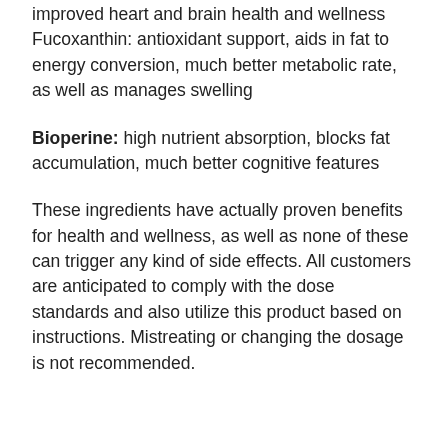improved heart and brain health and wellness Fucoxanthin: antioxidant support, aids in fat to energy conversion, much better metabolic rate, as well as manages swelling
Bioperine: high nutrient absorption, blocks fat accumulation, much better cognitive features
These ingredients have actually proven benefits for health and wellness, as well as none of these can trigger any kind of side effects. All customers are anticipated to comply with the dose standards and also utilize this product based on instructions. Mistreating or changing the dosage is not recommended.